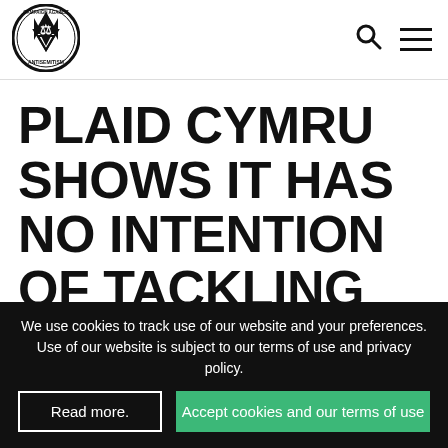[Figure (logo): Campaign Against Antisemitism circular logo with Star of David and scales of justice]
PLAID CYMRU SHOWS IT HAS NO INTENTION OF TACKLING ANTISEMITISM AFTER THE WELSH
We use cookies to track use of our website and your preferences. Use of our website is subject to our terms of use and privacy policy.
Read more.
Accept cookies and our terms of use